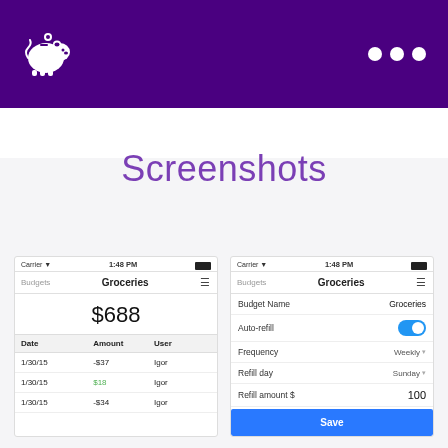[Figure (screenshot): Purple app header bar with white piggy bank icon on left and three white dots on right]
Screenshots
[Figure (screenshot): Mobile app screenshot showing Groceries budget with $688 amount and transaction list with dates, amounts and users. Rows: 1/30/15 -$37 Igor, 1/30/15 $18 Igor, 1/30/15 -$34 Igor]
[Figure (screenshot): Mobile app screenshot showing Groceries budget settings with Budget Name: Groceries, Auto-refill toggle ON, Frequency: Weekly, Refill day: Sunday, Refill amount: $100, and Save button]